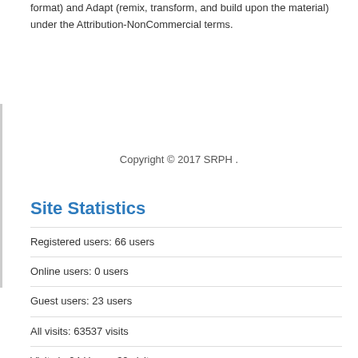format) and Adapt (remix, transform, and build upon the material) under the Attribution-NonCommercial terms.
Copyright © 2017 SRPH .
Site Statistics
Registered users: 66 users
Online users: 0 users
Guest users: 23 users
All visits: 63537 visits
Visits in 24 Hours: 32 visits